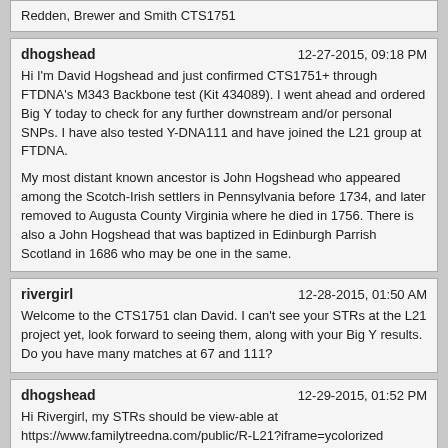Redden, Brewer and Smith CTS1751
dhogshead
12-27-2015, 09:18 PM
Hi I'm David Hogshead and just confirmed CTS1751+ through FTDNA's M343 Backbone test (Kit 434089). I went ahead and ordered Big Y today to check for any further downstream and/or personal SNPs. I have also tested Y-DNA111 and have joined the L21 group at FTDNA.

My most distant known ancestor is John Hogshead who appeared among the Scotch-Irish settlers in Pennsylvania before 1734, and later removed to Augusta County Virginia where he died in 1756. There is also a John Hogshead that was baptized in Edinburgh Parrish Scotland in 1686 who may be one in the same.
rivergirl
12-28-2015, 01:50 AM
Welcome to the CTS1751 clan David. I can't see your STRs at the L21 project yet, look forward to seeing them, along with your Big Y results.
Do you have many matches at 67 and 111?
dhogshead
12-29-2015, 01:52 PM
Hi Rivergirl, my STRs should be view-able at https://www.familytreedna.com/public/R-L21?iframe=ycolorized (currently showing up on p.5). I don't currently have any 67 or 111 matches. In fact, it looks like have quite a few off-model and a couple of unique SNPs compared to fellow CTS1751 folks seen there... more diversity yet. I'll be curious to see if any personal SNPs show up in the Big Y.
David
Little bit
03-02-2016, 02:37 PM
Hello again fellow CTS1751 enthusiasts: